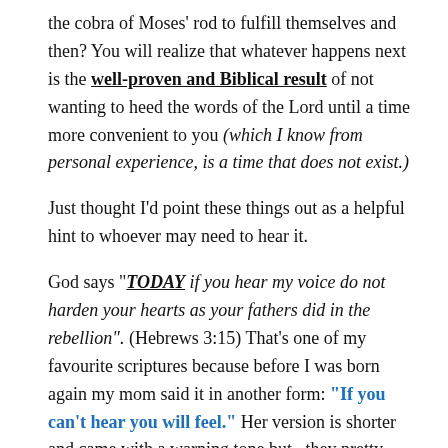the cobra of Moses' rod to fulfill themselves and then? You will realize that whatever happens next is the well-proven and Biblical result of not wanting to heed the words of the Lord until a time more convenient to you (which I know from personal experience, is a time that does not exist.)
Just thought I'd point these things out as a helpful hint to whoever may need to hear it.
God says "TODAY if you hear my voice do not harden your hearts as your fathers did in the rebellion". (Hebrews 3:15) That's one of my favourite scriptures because before I was born again my mom said it in another form: "If you can't hear you will feel." Her version is shorter and came with a warning tone but.. they pretty